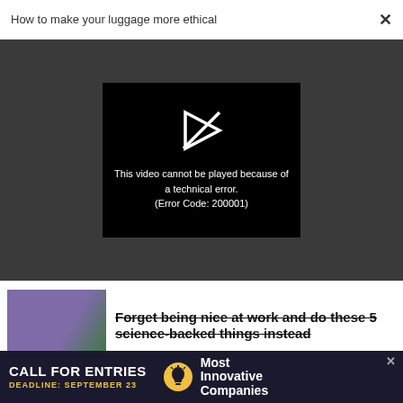How to make your luggage more ethical ×
[Figure (screenshot): Video player showing error message: This video cannot be played because of a technical error. (Error Code: 200001)]
Forget being nice at work and do these 5 science-backed things instead
TECHNOLOGY
How meme king Litquidity is
[Figure (infographic): Advertisement banner: CALL FOR ENTRIES, DEADLINE: SEPTEMBER 23, Most Innovative Companies]